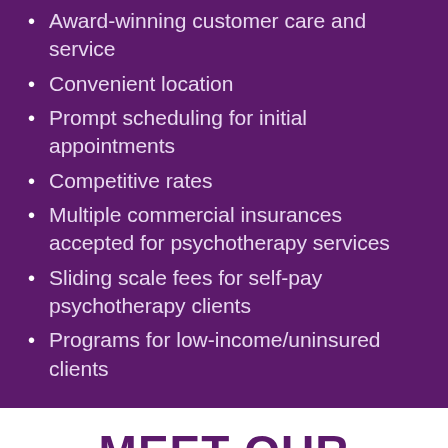Award-winning customer care and service
Convenient location
Prompt scheduling for initial appointments
Competitive rates
Multiple commercial insurances accepted for psychotherapy services
Sliding scale fees for self-pay psychotherapy clients
Programs for low-income/uninsured clients
MEET OUR OUTPATIENT THERAPISTS
[Figure (photo): Partial view of a person's photo (therapist headshot), cropped at bottom of page]